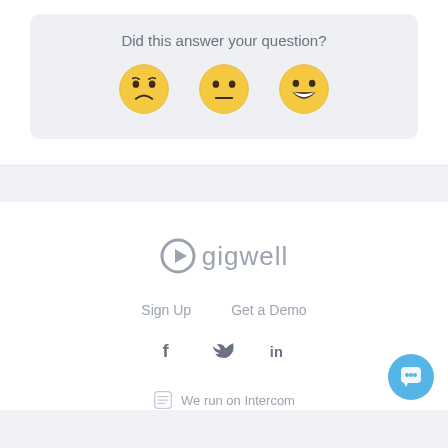Did this answer your question?
[Figure (illustration): Three emoji faces: disappointed/frowning face, neutral face, and grinning face with big smile]
[Figure (logo): Gigwell logo: circle-play icon followed by 'gigwell' in gray text]
Sign Up    Get a Demo
[Figure (illustration): Social media icons: Facebook (f), Twitter (bird), LinkedIn (in)]
We run on Intercom